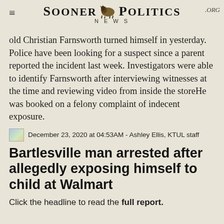SOONER POLITICS NEWS .ORG
old Christian Farnsworth turned himself in yesterday. Police have been looking for a suspect since a parent reported the incident last week. Investigators were able to identify Farnsworth after interviewing witnesses at the time and reviewing video from inside the storeHe was booked on a felony complaint of indecent exposure.
December 23, 2020 at 04:53AM - Ashley Ellis, KTUL staff
Bartlesville man arrested after allegedly exposing himself to child at Walmart
Click the headline to read the full report.